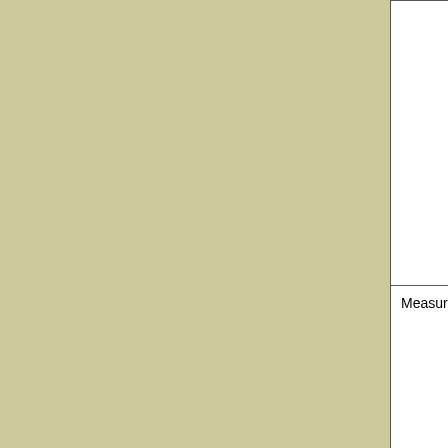|  | submission performance the Measu

Certificate 60 calenda |
| Measuring Device Inspection | Inspection calendar d |
| Electricity and Natural Gas Meter Approval and Measuring Apparatus Certification | Notice of A 30 and 120 depending submission submission performance the Measu

Certificate 60 calenda |
| Electricity and Natural Gas Meter Inspection | Inspection calendar d |